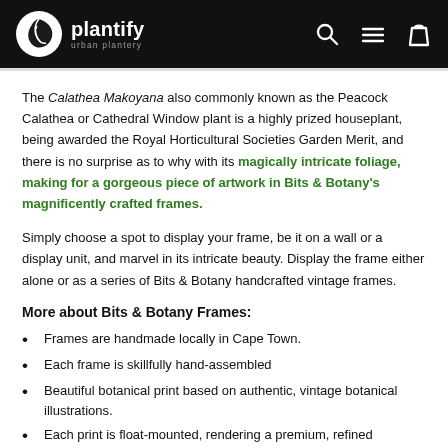plantify — urban plantery [navigation bar with logo, search, menu, and cart icons]
The Calathea Makoyana also commonly known as the Peacock Calathea or Cathedral Window plant is a highly prized houseplant, being awarded the Royal Horticultural Societies Garden Merit, and there is no surprise as to why with its magically intricate foliage, making for a gorgeous piece of artwork in Bits & Botany's magnificently crafted frames.
Simply choose a spot to display your frame, be it on a wall or a display unit, and marvel in its intricate beauty. Display the frame either alone or as a series of Bits & Botany handcrafted vintage frames.
More about Bits & Botany Frames:
Frames are handmade locally in Cape Town.
Each frame is skillfully hand-assembled
Beautiful botanical print based on authentic, vintage botanical illustrations.
Each print is float-mounted, rendering a premium, refined